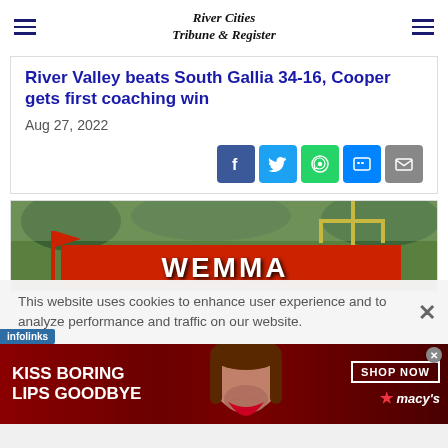River Cities Tribune & Register
River Valley beats South Gallia 34-16, Cooper gets first coaching win
Aug 27, 2022
[Figure (infographic): Social share buttons: Facebook, Twitter, WhatsApp, Messenger, Email]
[Figure (photo): Photo of a football field with a red banner reading something like WEMMA in large letters, goalpost and trees visible in background]
This website uses cookies to enhance user experience and to analyze performance and traffic on our website.
[Figure (infographic): Advertisement banner: KISS BORING LIPS GOODBYE - SHOP NOW - macys with red star logo]